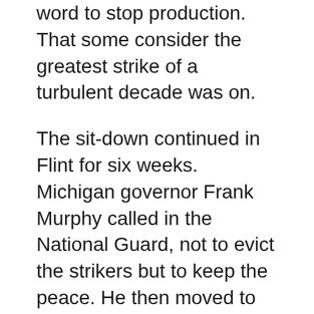word to stop production. That some consider the greatest strike of a turbulent decade was on.
The sit-down continued in Flint for six weeks. Michigan governor Frank Murphy called in the National Guard, not to evict the strikers but to keep the peace. He then moved to mediation, involving Lewis and GM's top officials along with Secretary of Labor Frances Perkins and the President. On February 11, 1937, Murphy got an agreement. The UAW evacuated the plants; in return the union gained recognition. The UAW was now established in GM.
This great victory was followed by agreements at Hudson, Packard, and Studebaker, along with many parts manufacturers. On April 6, Chrysler signed a contract with the union. The UAW now launched a drive to organize Ford. Henry Ford was utterly opposed to collective bargaining, and his Service